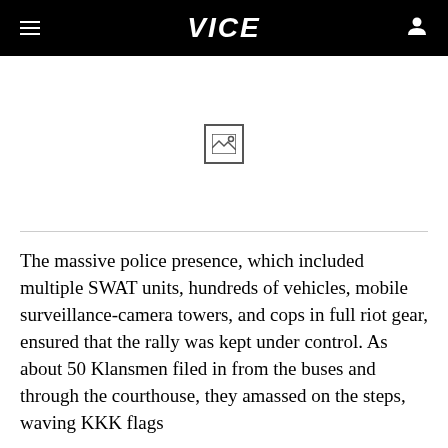VICE
[Figure (photo): Image placeholder with mountain/landscape icon, image not loaded]
The massive police presence, which included multiple SWAT units, hundreds of vehicles, mobile surveillance-camera towers, and cops in full riot gear, ensured that the rally was kept under control. As about 50 Klansmen filed in from the buses and through the courthouse, they amassed on the steps, waving KKK flags